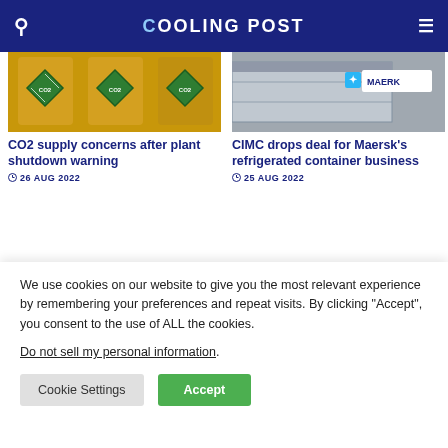COOLING POST
[Figure (photo): Yellow CO2 hazard cylinders with green diamond warning labels]
CO2 supply concerns after plant shutdown warning
26 AUG 2022
[Figure (photo): Maersk refrigerated container unit exterior]
CIMC drops deal for Maersk's refrigerated container business
25 AUG 2022
[Figure (photo): Industrial duct cross-sections showing interior views]
[Figure (photo): Job centre sign on brick building]
We use cookies on our website to give you the most relevant experience by remembering your preferences and repeat visits. By clicking “Accept”, you consent to the use of ALL the cookies.
Do not sell my personal information.
Cookie Settings
Accept